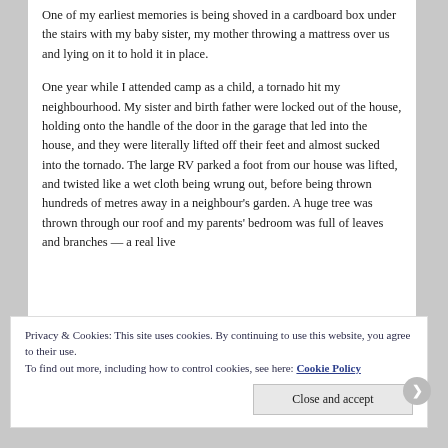One of my earliest memories is being shoved in a cardboard box under the stairs with my baby sister, my mother throwing a mattress over us and lying on it to hold it in place.
One year while I attended camp as a child, a tornado hit my neighbourhood. My sister and birth father were locked out of the house, holding onto the handle of the door in the garage that led into the house, and they were literally lifted off their feet and almost sucked into the tornado. The large RV parked a foot from our house was lifted, and twisted like a wet cloth being wrung out, before being thrown hundreds of metres away in a neighbour's garden. A huge tree was thrown through our roof and my parents' bedroom was full of leaves and branches — a real live
Privacy & Cookies: This site uses cookies. By continuing to use this website, you agree to their use.
To find out more, including how to control cookies, see here: Cookie Policy